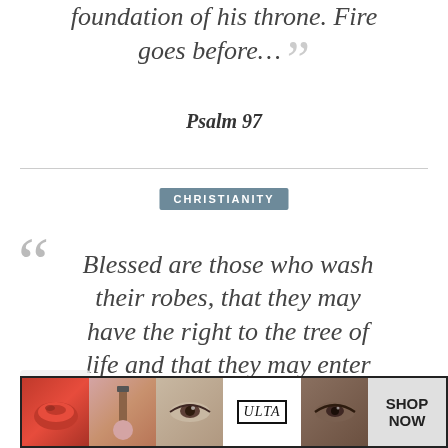foundation of his throne. Fire goes before…”
Psalm 97
CHRISTIANITY
“Blessed are those who wash their robes, that they may have the right to the tree of life and that they may enter the city by the gates. Outside are the dogs and…
[Figure (other): Ulta beauty advertisement banner with makeup imagery and SHOP NOW button]